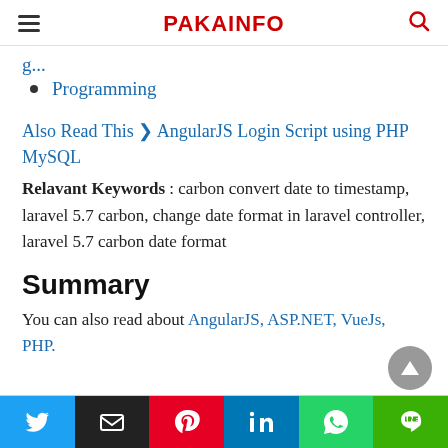PAKAINFO
Programming
Also Read This ❯ AngularJS Login Script using PHP MySQL
Relavant Keywords : carbon convert date to timestamp, laravel 5.7 carbon, change date format in laravel controller, laravel 5.7 carbon date format
Summary
You can also read about AngularJS, ASP.NET, VueJs, PHP.